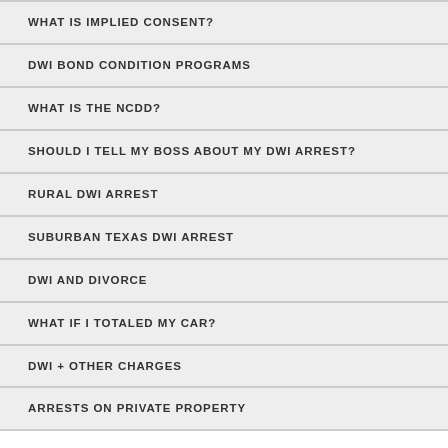WHAT IS IMPLIED CONSENT?
DWI BOND CONDITION PROGRAMS
WHAT IS THE NCDD?
SHOULD I TELL MY BOSS ABOUT MY DWI ARREST?
RURAL DWI ARREST
SUBURBAN TEXAS DWI ARREST
DWI AND DIVORCE
WHAT IF I TOTALED MY CAR?
DWI + OTHER CHARGES
ARRESTS ON PRIVATE PROPERTY